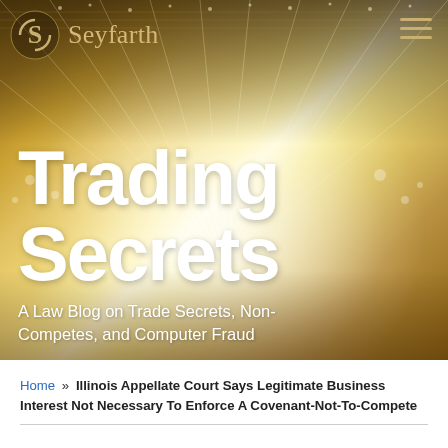[Figure (photo): Seyfarth law firm banner image showing an ornate chandelier-lit hall with golden warm lighting. The Seyfarth logo (circular S icon) and firm name appear in the top left, a hamburger menu icon in the top right.]
Trading Secrets
A Law Blog on Trade Secrets, Non-Competes, and Computer Fraud
Home » Illinois Appellate Court Says Legitimate Business Interest Not Necessary To Enforce A Covenant-Not-To-Compete